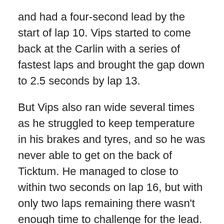and had a four-second lead by the start of lap 10. Vips started to come back at the Carlin with a series of fastest laps and brought the gap down to 2.5 seconds by lap 13.
But Vips also ran wide several times as he struggled to keep temperature in his brakes and tyres, and so he was never able to get on the back of Ticktum. He managed to close to within two seconds on lap 16, but with only two laps remaining there wasn't enough time to challenge for the lead.
After Vips had a few more offs in the final laps, Ticktum crossed the line to take victory with 4.5 seconds in hand over the